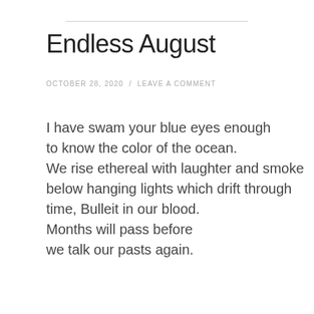Endless August
OCTOBER 28, 2020 / LEAVE A COMMENT
I have swam your blue eyes enough
to know the color of the ocean.

We rise ethereal with laughter and smoke
below hanging lights which drift through

time, Bulleit in our blood.

Months will pass before
we talk our pasts again.